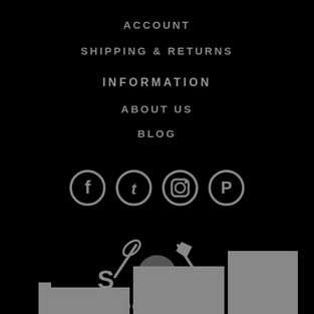ACCOUNT
SHIPPING & RETURNS
INFORMATION
ABOUT US
BLOG
[Figure (logo): Social media icons: Facebook, Twitter, Instagram, Pinterest — grey circles on black background]
[Figure (logo): Survival Chimp logo — grey cartoon chimp with axes, knives, text 'S C' and 'SURVIVAL CHIMP' on black background, with ascending staircase steps silhouette at the bottom]